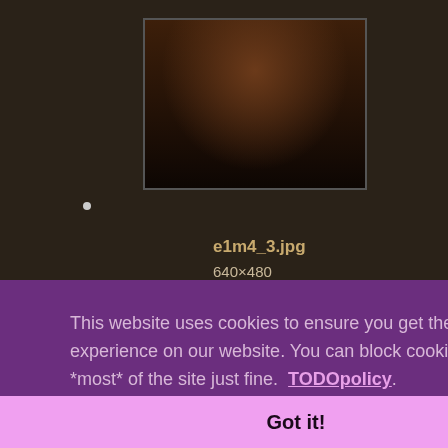[Figure (photo): Thumbnail of a dark fantasy game screenshot (e1m4_3.jpg) showing a cave/dungeon scene]
•
e1m4_3.jpg
640×480
2011/10/28 18:44
23.6 KB
[Figure (photo): Thumbnail of a second dark fantasy game screenshot showing a dungeon with pillars]
•
This website uses cookies to ensure you get the best experience on our website. You can block cookies and use *most* of the site just fine.  TODOpolicy
Got it!